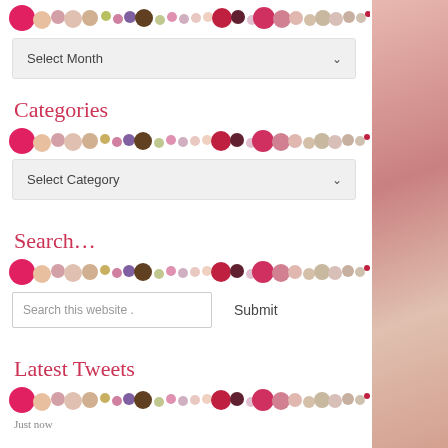[Figure (illustration): Decorative dots strip - row of colorful circles in pinks, beiges, purples, olives, reds]
[Figure (screenshot): Select Month dropdown UI element]
Categories
[Figure (illustration): Decorative dots strip - row of colorful circles]
[Figure (screenshot): Select Category dropdown UI element]
Search...
[Figure (illustration): Decorative dots strip - row of colorful circles]
[Figure (screenshot): Search this website input with Submit button]
Latest Tweets
[Figure (illustration): Decorative dots strip - row of colorful circles]
Just now